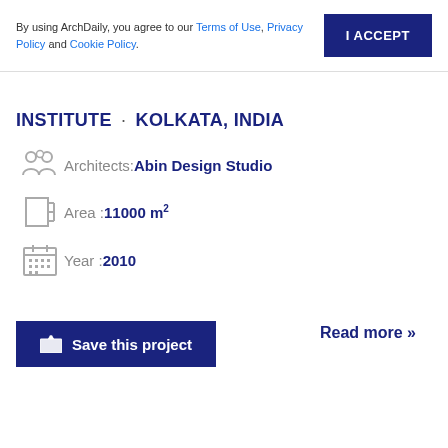By using ArchDaily, you agree to our Terms of Use, Privacy Policy and Cookie Policy.
I ACCEPT
INSTITUTE · KOLKATA, INDIA
Architects: Abin Design Studio
Area: 11000 m²
Year: 2010
Save this project
Read more »